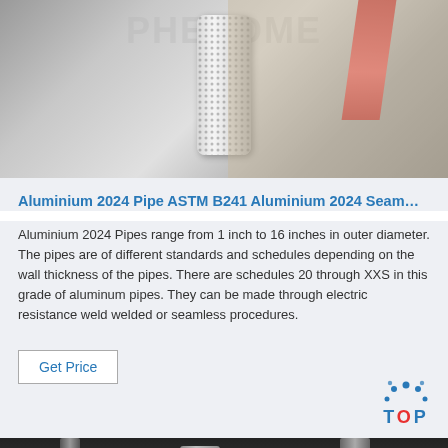[Figure (photo): Close-up photo of an aluminium pipe fitting with knurled texture and red accent element in the background, with watermark text overlay]
Aluminium 2024 Pipe ASTM B241 Aluminium 2024 Seam…
Aluminium 2024 Pipes range from 1 inch to 16 inches in outer diameter. The pipes are of different standards and schedules depending on the wall thickness of the pipes. There are schedules 20 through XXS in this grade of aluminum pipes. They can be made through electric resistance weld welded or seamless procedures.
Get Price
[Figure (photo): Photo of industrial piping installation in a facility, showing multiple pipes and structural elements]